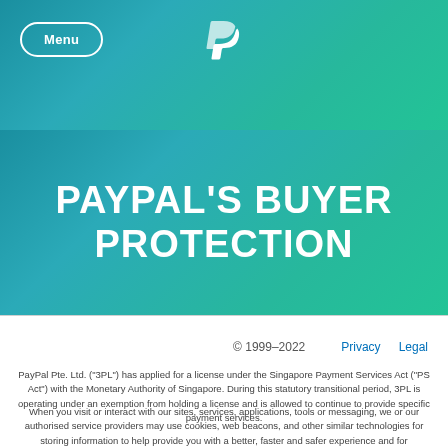Menu | PayPal logo
PAYPAL'S BUYER PROTECTION
© 1999–2022   Privacy   Legal
PayPal Pte. Ltd. ("3PL") has applied for a license under the Singapore Payment Services Act ("PS Act") with the Monetary Authority of Singapore. During this statutory transitional period, 3PL is operating under an exemption from holding a license and is allowed to continue to provide specific payment services.
When you visit or interact with our sites, services, applications, tools or messaging, we or our authorised service providers may use cookies, web beacons, and other similar technologies for storing information to help provide you with a better, faster and safer experience and for advertising purposes. Learn more here.